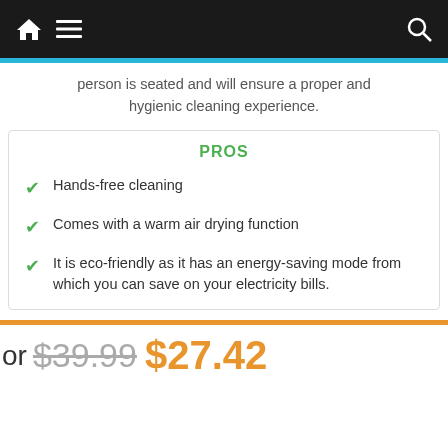Navigation bar with home, menu, and search icons
person is seated and will ensure a proper and hygienic cleaning experience.
PROS
Hands-free cleaning
Comes with a warm air drying function
It is eco-friendly as it has an energy-saving mode from which you can save on your electricity bills.
or $39.99 $27.42